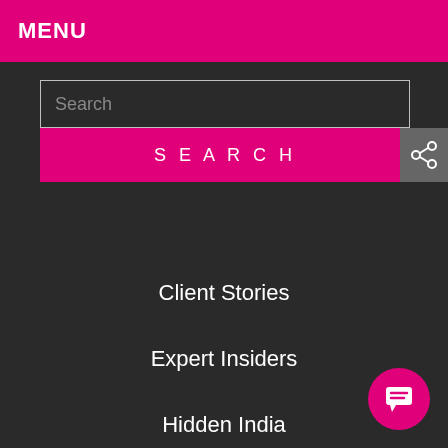MENU
Search
SEARCH
Client Stories
Expert Insiders
Hidden India